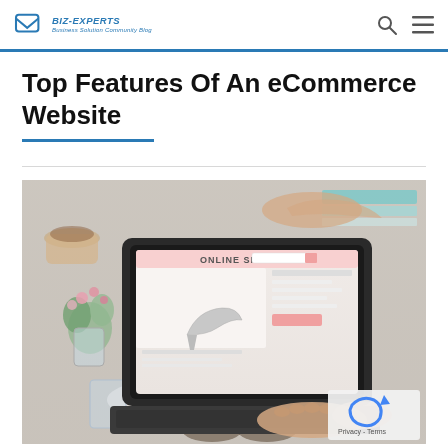BIZ-EXPERTS Business Solution Community Blog
Top Features Of An eCommerce Website
[Figure (photo): Person typing on a laptop displaying an online shoe shop website, with flowers, coffee, pink macarons, a glass of water, books, and sunglasses on a desk]